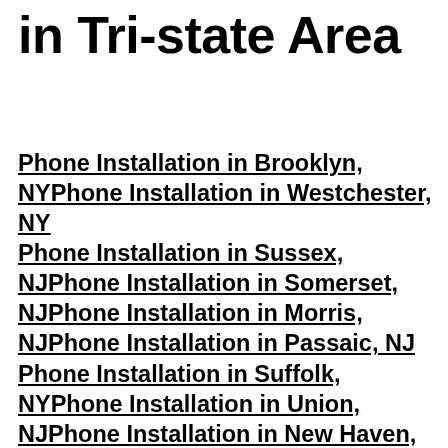in Tri-state Area
Phone Installation in Brooklyn, NYPhone Installation in Westchester, NY Phone Installation in Sussex, NJPhone Installation in Somerset, NJPhone Installation in Morris, NJPhone Installation in Passaic, NJ Phone Installation in Suffolk, NYPhone Installation in Union, NJPhone Installation in New Haven, CTPhone Installation in Orange, NYPhone Installation in Queens, NYPhone Installation in Rockland, NYPhone Installation in Putnam, NYPhone Installation in Staten Island, NJPhone Installation in Hudson, NJPhone Installation in Hunterdon, NJPhone Installation in Ocean, NJPhone Installation in Litchfield, CTPhone Installation in Bronx, NYPhone Installation in Nassau, NYPhone Installation in